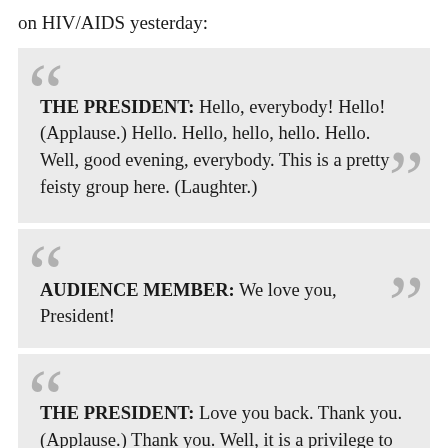on HIV/AIDS yesterday:
THE PRESIDENT: Hello, everybody! Hello! (Applause.) Hello. Hello, hello, hello. Hello. Well, good evening, everybody. This is a pretty feisty group here. (Laughter.)
AUDIENCE MEMBER: We love you, President!
THE PRESIDENT: Love you back. Thank you. (Applause.) Thank you. Well, it is a privilege to speak with all of you. Welcome to the White House.